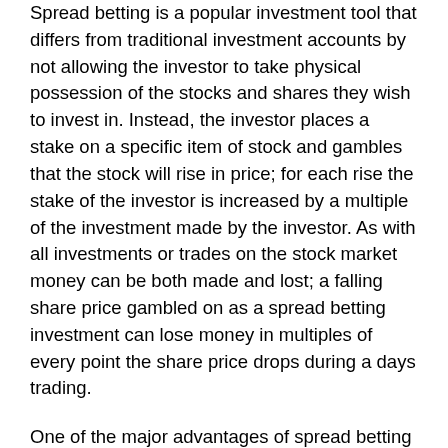Spread betting is a popular investment tool that differs from traditional investment accounts by not allowing the investor to take physical possession of the stocks and shares they wish to invest in. Instead, the investor places a stake on a specific item of stock and gambles that the stock will rise in price; for each rise the stake of the investor is increased by a multiple of the investment made by the investor. As with all investments or trades on the stock market money can be both made and lost; a falling share price gambled on as a spread betting investment can lose money in multiples of every point the share price drops during a days trading.
One of the major advantages of spread betting on investments is the lack of capital gains tax that must be paid for purchasing stock in a company or corporation; each share bought is subject to taxation, but by not physically owning shares the problem of taxation is eliminated. A savvy investor can play the markets using spread betting to maximise their profits; investors who successfully predict a stock is about to fall in price can sell their shares and then buy them back when they feel the investment is